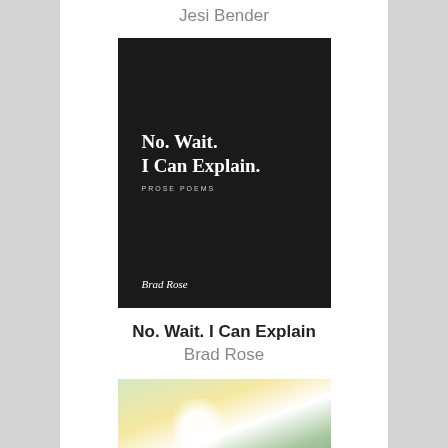Jesi Bender
[Figure (photo): Book cover of 'No. Wait. I Can Explain.' by Brad Rose — black background with white bold title text and subtitle 'PROSE POEMS', author name in italic at bottom]
No. Wait. I Can Explain
Brad Rose
[Figure (photo): Faded vintage/retro photograph showing a bright overexposed center light source with green-tinted figures in background, appearing to be an outdoor scene]